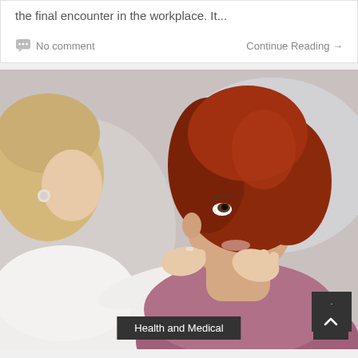the final encounter in the workplace. It...
No comment
Continue Reading →
[Figure (photo): A doctor (blonde woman in white coat) examining a red-haired female patient's neck/throat area. Patient is tilting her head back and looking up while doctor's hands are on her neck.]
Health and Medical